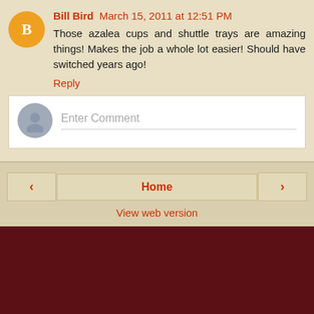Bill Bird March 15, 2011 at 12:51 PM
Those azalea cups and shuttle trays are amazing things! Makes the job a whole lot easier! Should have switched years ago!
Reply
[Figure (other): Enter Comment input field with anonymous user avatar icon]
Home
View web version